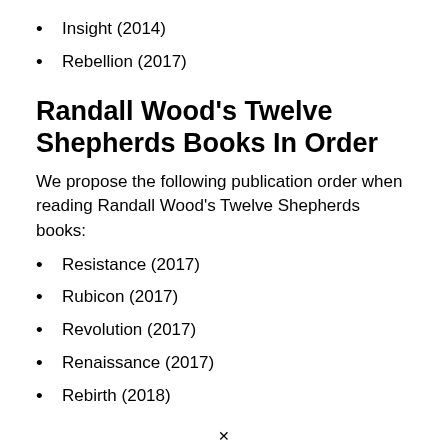Insight (2014)
Rebellion (2017)
Randall Wood's Twelve Shepherds Books In Order
We propose the following publication order when reading Randall Wood's Twelve Shepherds books:
Resistance (2017)
Rubicon (2017)
Revolution (2017)
Renaissance (2017)
Rebirth (2018)